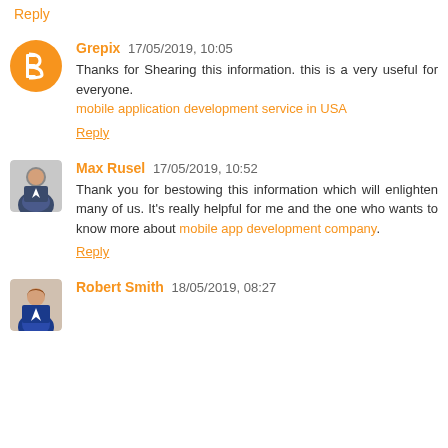Reply
Grepix 17/05/2019, 10:05
Thanks for Shearing this information. this is a very useful for everyone.
mobile application development service in USA
Reply
Max Rusel 17/05/2019, 10:52
Thank you for bestowing this information which will enlighten many of us. It's really helpful for me and the one who wants to know more about mobile app development company.
Reply
Robert Smith 18/05/2019, 08:27